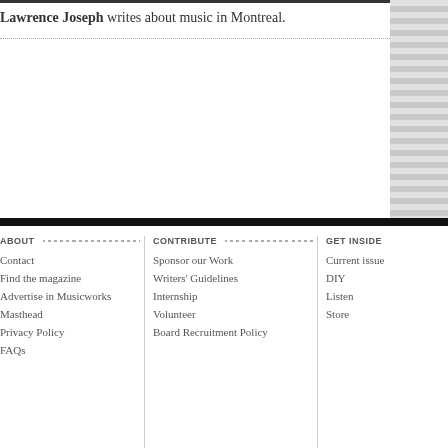Lawrence Joseph writes about music in Montreal.
ABOUT | Contact | Find the magazine | Advertise in Musicworks | Masthead | Privacy Policy | FAQs | CONTRIBUTE | Sponsor our Work | Writers' Guidelines | Internship | Volunteer | Board Recruitment Policy | GET INSIDE | Current issue | DIY | Listen | Store